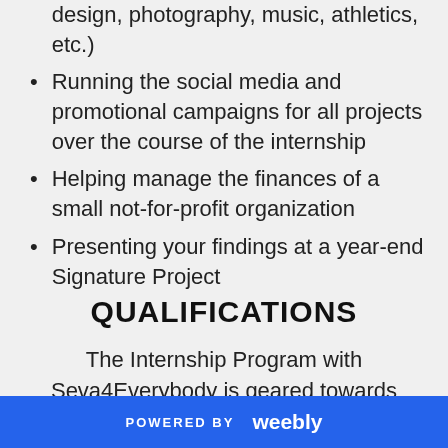design, photography, music, athletics, etc.)
Running the social media and promotional campaigns for all projects over the course of the internship
Helping manage the finances of a small not-for-profit organization
Presenting your findings at a year-end Signature Project
QUALIFICATIONS
The Internship Program with Seva4Everybody is geared towards undergraduate students and high school seniors from all majors and educational backgrounds who are passionate about making a
POWERED BY weebly